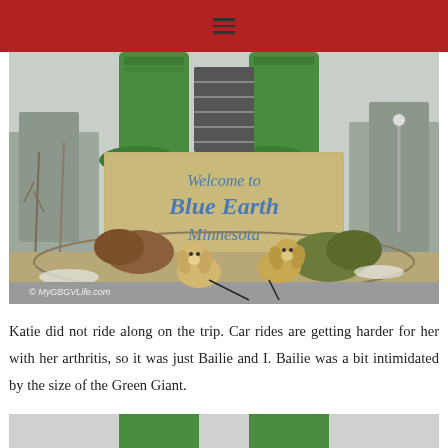≡
[Figure (photo): Two golden/cream colored dogs sitting in front of a 'Welcome to Blue Earth Minnesota' sign, with the large green feet/boots of the Jolly Green Giant statue visible above. Photo watermark reads © MyGBGVLife.com]
Katie did not ride along on the trip. Car rides are getting harder for her with her arthritis, so it was just Bailie and I. Bailie was a bit intimidated by the size of the Green Giant.
[Figure (photo): Partial view of the bottom of the Jolly Green Giant statue showing green legs/boots from below, cropped at bottom of page]